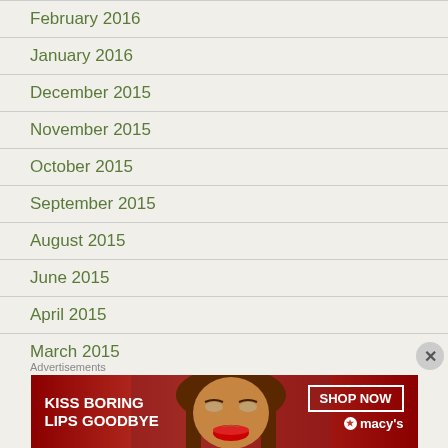February 2016
January 2016
December 2015
November 2015
October 2015
September 2015
August 2015
June 2015
April 2015
March 2015
January 2015
December 2014
Advertisements
[Figure (photo): Macy's advertisement banner: KISS BORING LIPS GOODBYE with SHOP NOW button and Macy's logo on red background with woman's face]